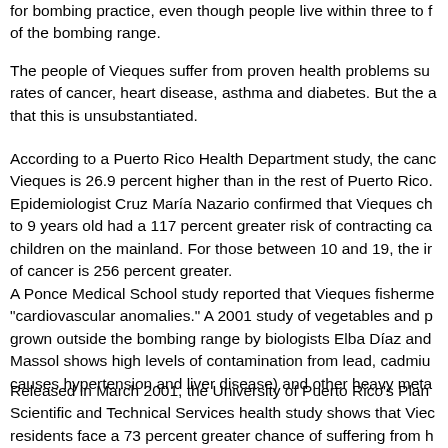for bombing practice, even though people live within three to five miles of the bombing range.
The people of Vieques suffer from proven health problems such as higher rates of cancer, heart disease, asthma and diabetes. But the a... that this is unsubstantiated.
According to a Puerto Rico Health Department study, the cancer rate in Vieques is 26.9 percent higher than in the rest of Puerto Rico. Epidemiologist Cruz María Nazario confirmed that Vieques children 1 to 9 years old had a 117 percent greater risk of contracting cancer than children on the mainland. For those between 10 and 19, the incidence of cancer is 256 percent greater.
A Ponce Medical School study reported that Vieques fishermen had "cardiovascular anomalies." A 2001 study of vegetables and plants grown outside the bombing range by biologists Elba Díaz and Massol shows high levels of contamination from lead, cadmium (which causes hypertension and liver disease) and other heavy metals.
Released in March 2001, the University of Puerto Rico's Planning and Scientific and Technical Services health study shows that Vieques residents face a 73 percent greater chance of suffering from heart disease than mainland residents, 64 percent more likely to develop hypertension, 58 percent more likely to have diabetes and 18 percent more likely to die compared with other...